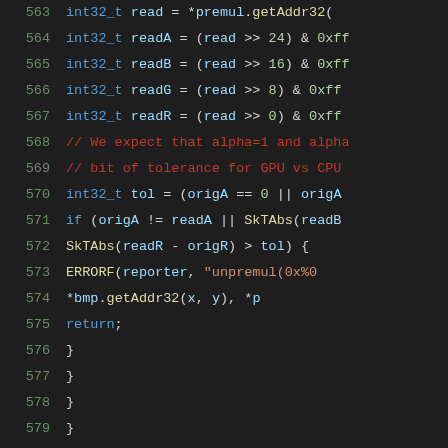[Figure (screenshot): Source code viewer showing C++ code lines 563-584 with syntax highlighting on dark background. Line numbers in green on left, code with colored syntax tokens on right.]